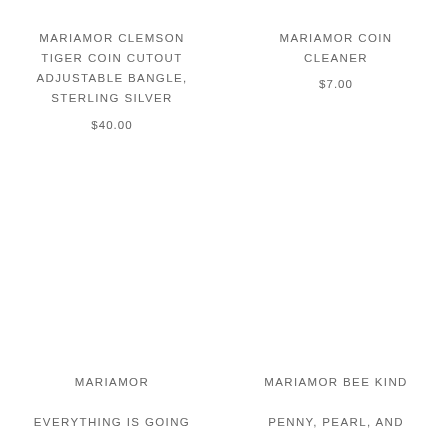MARIAMOR CLEMSON TIGER COIN CUTOUT ADJUSTABLE BANGLE, STERLING SILVER
$40.00
MARIAMOR COIN CLEANER
$7.00
MARIAMOR EVERYTHING IS GOING
MARIAMOR BEE KIND PENNY, PEARL, AND